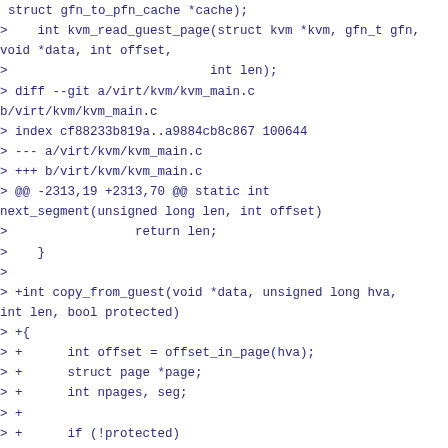struct gfn_to_pfn_cache *cache);
>    int kvm_read_guest_page(struct kvm *kvm, gfn_t gfn,
void *data, int offset,
>                           int len);
> diff --git a/virt/kvm/kvm_main.c
b/virt/kvm/kvm_main.c
> index cf88233b819a..a9884cb8c867 100644
> --- a/virt/kvm/kvm_main.c
> +++ b/virt/kvm/kvm_main.c
> @@ -2313,19 +2313,70 @@ static int
next_segment(unsigned long len, int offset)
>                 return len;
>    }
>
> +int copy_from_guest(void *data, unsigned long hva,
int len, bool protected)
> +{
> +      int offset = offset_in_page(hva);
> +      struct page *page;
> +      int npages, seg;
> +
> +      if (!protected)
> +              return __copy_from_user(data, (void
__user *)hva, len);
> +
> +      might_fault();
> +      kasan_check_write(data, len);
> +      check_object_size(data, len, false);
> +
> +      while ((seg = next_segment(len, offset)) != 0)